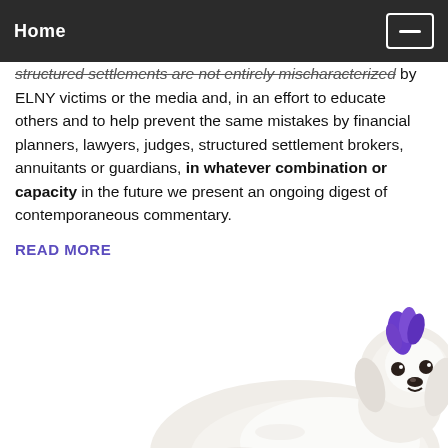Home
structured settlements are not entirely mischaracterized by ELNY victims or the media and, in an effort to educate others and to help prevent the same mistakes by financial planners, lawyers, judges, structured settlement brokers, annuitants or guardians, in whatever combination or capacity in the future we present an ongoing digest of contemporaneous commentary.
READ MORE
[Figure (photo): A white Maltese or Shih Tzu dog with purple dyed mohawk on head and purple dyed fur on paws, standing on a white background.]